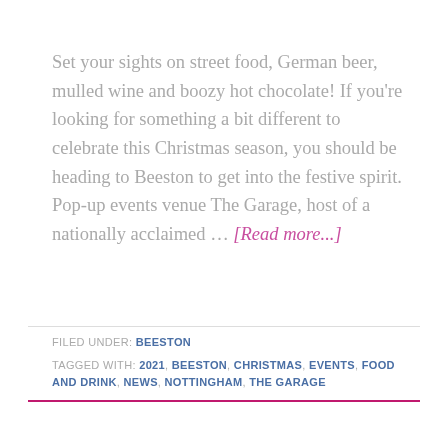Set your sights on street food, German beer, mulled wine and boozy hot chocolate! If you're looking for something a bit different to celebrate this Christmas season, you should be heading to Beeston to get into the festive spirit. Pop-up events venue The Garage, host of a nationally acclaimed … [Read more...]
FILED UNDER: BEESTON
TAGGED WITH: 2021, BEESTON, CHRISTMAS, EVENTS, FOOD AND DRINK, NEWS, NOTTINGHAM, THE GARAGE